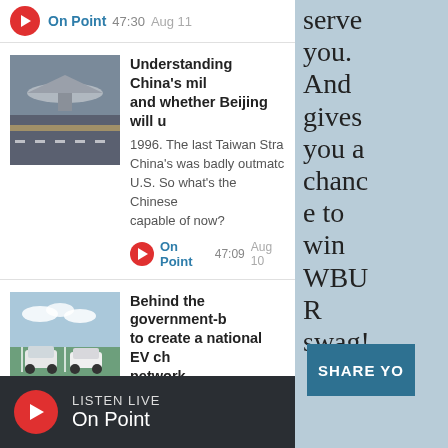[Figure (screenshot): Top bar with red play button, On Point label, 47:30, Aug 11]
[Figure (photo): Military aircraft photo thumbnail for China military article]
Understanding China's mil... and whether Beijing will u...
1996. The last Taiwan Stra... China's was badly outmatc... U.S. So what's the Chinese... capable of now?
On Point  47:09  Aug 10
[Figure (photo): Electric vehicles parking photo thumbnail]
Behind the government-b... to create a national EV ch... network
The federal government is... to usher in an electric vehi...
LISTEN LIVE
On Point
serve you. And gives you a chance to win WBUR swag!